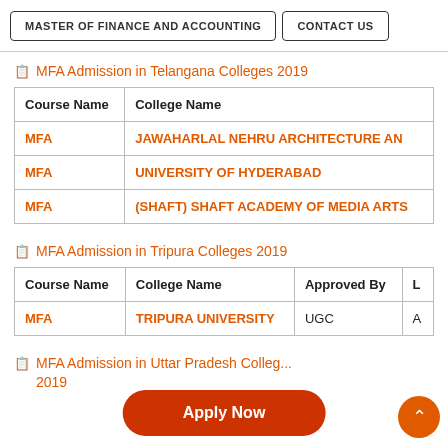MASTER OF FINANCE AND ACCOUNTING   CONTACT US
MFA Admission in Telangana Colleges 2019
| Course Name | College Name |
| --- | --- |
| MFA | JAWAHARLAL NEHRU ARCHITECTURE AN... |
| MFA | UNIVERSITY OF HYDERABAD |
| MFA | (SHAFT) SHAFT ACADEMY OF MEDIA ARTS... |
MFA Admission in Tripura Colleges 2019
| Course Name | College Name | Approved By | L... |
| --- | --- | --- | --- |
| MFA | TRIPURA UNIVERSITY | UGC | A... |
MFA Admission in Uttar Pradesh Colleges 2019